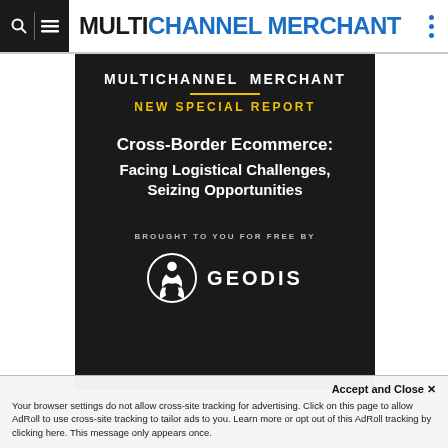MULTICHANNEL MERCHANT
[Figure (infographic): Dark background promotional card for Multichannel Merchant New Special Report titled 'Cross-Border Ecommerce: Facing Logistical Challenges, Seizing Opportunities', brought to you for free by GEODIS]
Accept and Close ×
Your browser settings do not allow cross-site tracking for advertising. Click on this page to allow AdRoll to use cross-site tracking to tailor ads to you. Learn more or opt out of this AdRoll tracking by clicking here. This message only appears once.